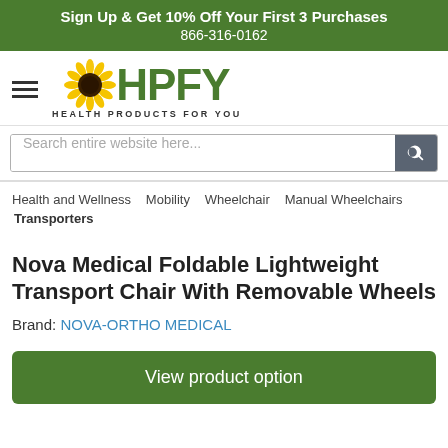Sign Up & Get 10% Off Your First 3 Purchases
866-316-0162
[Figure (logo): HPFY Health Products For You logo with sunflower icon]
Search entire website here...
Health and Wellness  Mobility  Wheelchair  Manual Wheelchairs  Transporters
Nova Medical Foldable Lightweight Transport Chair With Removable Wheels
Brand: NOVA-ORTHO MEDICAL
View product option